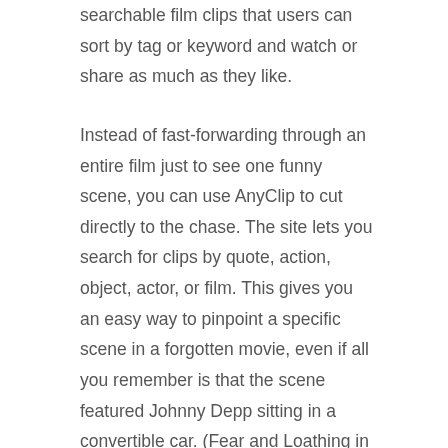searchable film clips that users can sort by tag or keyword and watch or share as much as they like.
Instead of fast-forwarding through an entire film just to see one funny scene, you can use AnyClip to cut directly to the chase. The site lets you search for clips by quote, action, object, actor, or film. This gives you an easy way to pinpoint a specific scene in a forgotten movie, even if all you remember is that the scene featured Johnny Depp sitting in a convertible car. (Fear and Loathing in Las Vegas.) Once you've pulled up the